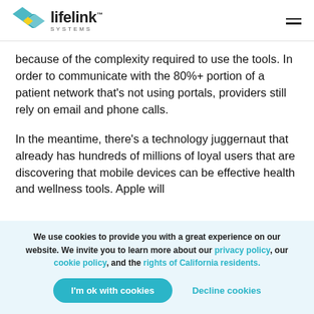lifelink SYSTEMS
because of the complexity required to use the tools. In order to communicate with the 80%+ portion of a patient network that’s not using portals, providers still rely on email and phone calls.
In the meantime, there’s a technology juggernaut that already has hundreds of millions of loyal users that are discovering that mobile devices can be effective health and wellness tools. Apple will
We use cookies to provide you with a great experience on our website. We invite you to learn more about our privacy policy, our cookie policy, and the rights of California residents.
I’m ok with cookies | Decline cookies